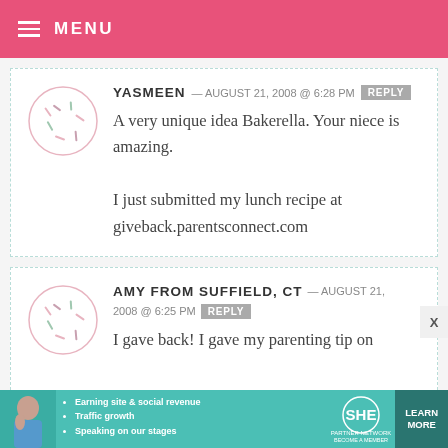MENU
YASMEEN — AUGUST 21, 2008 @ 6:28 PM REPLY
A very unique idea Bakerella. Your niece is amazing.
I just submitted my lunch recipe at giveback.parentsconnect.com
AMY FROM SUFFIELD, CT — AUGUST 21, 2008 @ 6:25 PM REPLY
I gave back! I gave my parenting tip on
[Figure (infographic): SHE Partner Network advertisement banner with photo of woman, bullet points about earning site & social revenue, traffic growth, speaking on stages, SHE logo, and Learn More button]